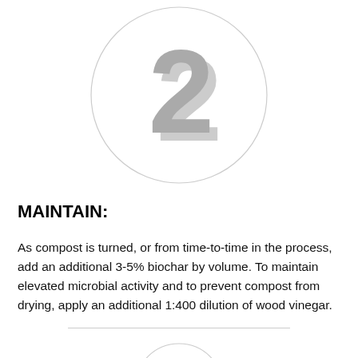[Figure (illustration): Large circle with bold number '2' rendered in gray with a shadow/offset effect, serving as a step indicator.]
MAINTAIN:
As compost is turned, or from time-to-time in the process, add an additional 3-5% biochar by volume. To maintain elevated microbial activity and to prevent compost from drying, apply an additional 1:400 dilution of wood vinegar.
[Figure (illustration): Partial circle visible at the bottom of the page, serving as step indicator for the next step.]